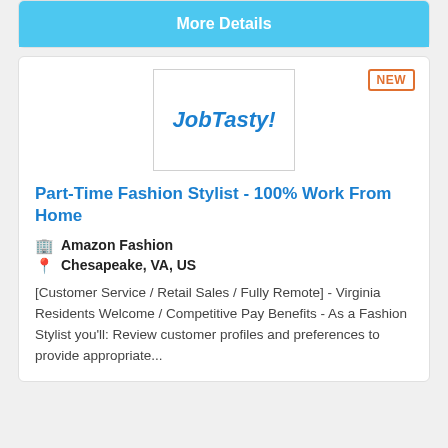More Details
[Figure (logo): JobTasty! logo in blue bold italic text inside a white bordered box]
Part-Time Fashion Stylist - 100% Work From Home
Amazon Fashion
Chesapeake, VA, US
[Customer Service / Retail Sales / Fully Remote] - Virginia Residents Welcome / Competitive Pay Benefits - As a Fashion Stylist you'll: Review customer profiles and preferences to provide appropriate...